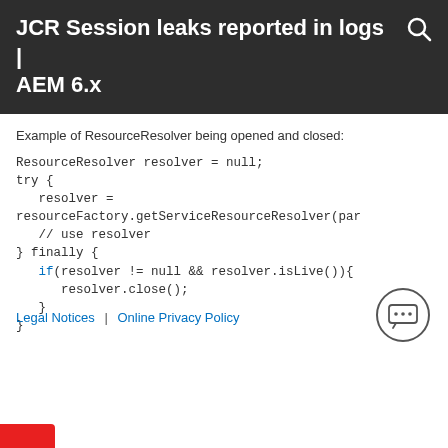JCR Session leaks reported in logs | AEM 6.x
Example of ResourceResolver being opened and closed:
Legal Notices | Online Privacy Policy